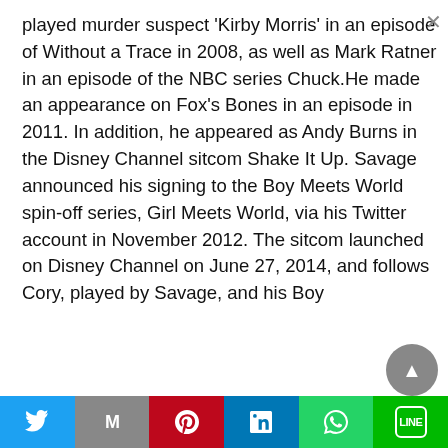played murder suspect 'Kirby Morris' in an episode of Without a Trace in 2008, as well as Mark Ratner in an episode of the NBC series Chuck.He made an appearance on Fox's Bones in an episode in 2011. In addition, he appeared as Andy Burns in the Disney Channel sitcom Shake It Up. Savage announced his signing to the Boy Meets World spin-off series, Girl Meets World, via his Twitter account in November 2012. The sitcom launched on Disney Channel on June 27, 2014, and follows Cory, played by Savage, and his Boy